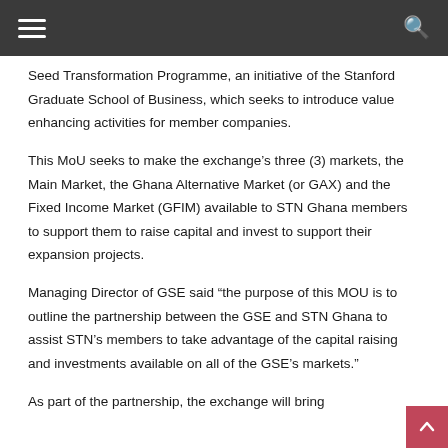Seed Transformation Programme, an initiative of the Stanford Graduate School of Business, which seeks to introduce value enhancing activities for member companies.
This MoU seeks to make the exchange’s three (3) markets, the Main Market, the Ghana Alternative Market (or GAX) and the Fixed Income Market (GFIM) available to STN Ghana members to support them to raise capital and invest to support their expansion projects.
Managing Director of GSE said “the purpose of this MOU is to outline the partnership between the GSE and STN Ghana to assist STN’s members to take advantage of the capital raising and investments available on all of the GSE’s markets."
As part of the partnership, the exchange will bring